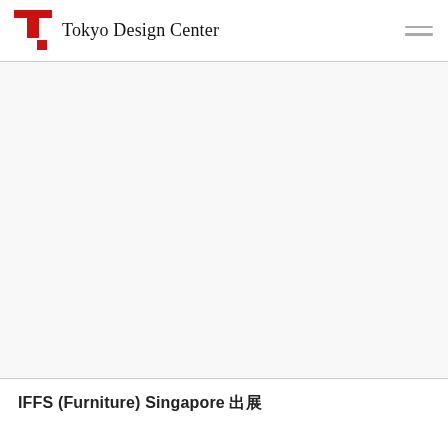Tokyo Design Center
[Figure (photo): Large blank/white image area placeholder for a photo related to IFFS (Furniture) Singapore]
IFFS (Furniture) Singapore 出展